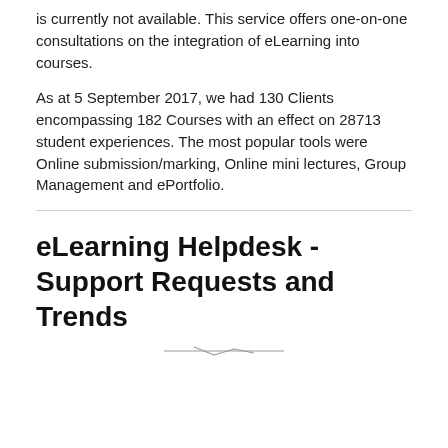is currently not available. This service offers one-on-one consultations on the integration of eLearning into courses.
As at 5 September 2017, we had 130 Clients encompassing 182 Courses with an effect on 28713 student experiences. The most popular tools were Online submission/marking, Online mini lectures, Group Management and ePortfolio.
eLearning Helpdesk - Support Requests and Trends
[Figure (other): Partial chart or figure stub visible at bottom of section, appears to be a line or bar chart title area, content cut off.]